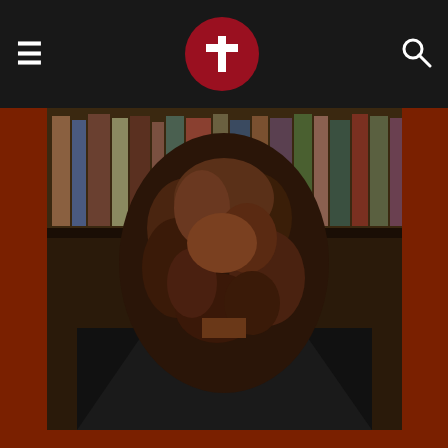Navigation bar with hamburger menu, cross logo, and search icon
[Figure (photo): Back view of a man with long curly reddish-brown hair and dark suit jacket, seated in front of a bookshelf]
Matthew is married with two teenage children. In the past he has faithfully served on the mission field for twelve years and currently he is the pastor at Harvest Mission Baptist Church in Aubrey, Texas where he has pastored for five